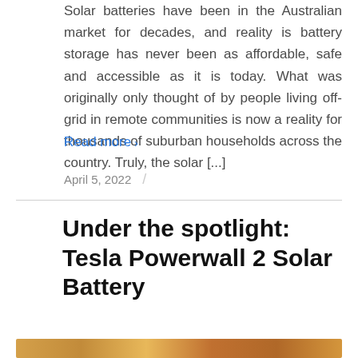Solar batteries have been in the Australian market for decades, and reality is battery storage has never been as affordable, safe and accessible as it is today. What was originally only thought of by people living off-grid in remote communities is now a reality for thousands of suburban households across the country. Truly, the solar [...]
Read more >
April 5, 2022 /
Under the spotlight: Tesla Powerwall 2 Solar Battery
[Figure (photo): Partial image strip visible at the bottom of the page, appearing to show a product or solar-related photo in warm orange/brown tones]